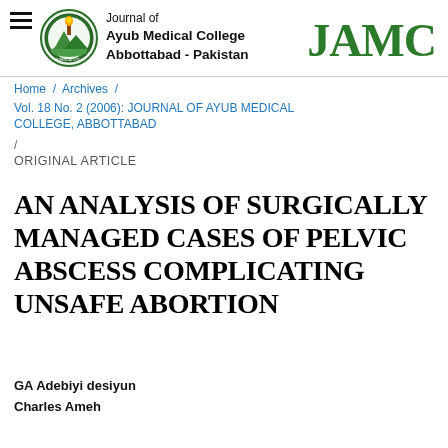Journal of Ayub Medical College Abbottabad - Pakistan | JAMC
Home / Archives / Vol. 18 No. 2 (2006): JOURNAL OF AYUB MEDICAL COLLEGE, ABBOTTABAD
ORIGINAL ARTICLE
AN ANALYSIS OF SURGICALLY MANAGED CASES OF PELVIC ABSCESS COMPLICATING UNSAFE ABORTION
GA Adebiyi desiyun
Charles Ameh